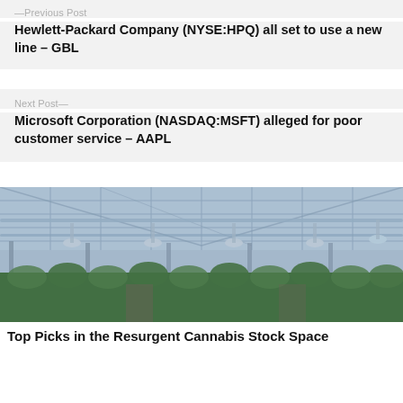—Previous Post
Hewlett-Packard Company (NYSE:HPQ) all set to use a new line – GBL
Next Post—
Microsoft Corporation (NASDAQ:MSFT) alleged for poor customer service – AAPL
[Figure (photo): Interior of a large commercial greenhouse with rows of green cannabis plants growing under a glass ceiling with hanging lights and pipes]
Top Picks in the Resurgent Cannabis Stock Space